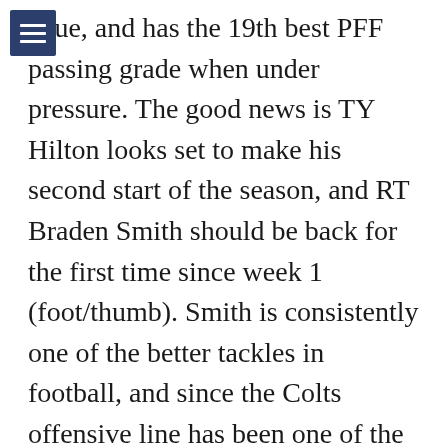[Figure (other): Hamburger menu icon — three white horizontal lines on a dark navy/blue square background]
ague, and has the 19th best PFF passing grade when under pressure. The good news is TY Hilton looks set to make his second start of the season, and RT Braden Smith should be back for the first time since week 1 (foot/thumb). Smith is consistently one of the better tackles in football, and since the Colts offensive line has been one of the worst from both a pass and run blocking perspective, his return is a massive boost. With TY Hilton out, Michael Pittman has stepped into the #1 wide receiver role nicely - Wentz has a 123.4 rating when targeting Pittman. Behind Pittman and Hilton, in projected